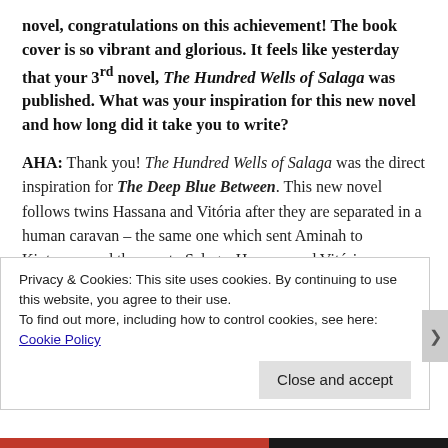novel, congratulations on this achievement! The book cover is so vibrant and glorious. It feels like yesterday that your 3rd novel, The Hundred Wells of Salaga was published. What was your inspiration for this new novel and how long did it take you to write?
AHA: Thank you! The Hundred Wells of Salaga was the direct inspiration for The Deep Blue Between. This new novel follows twins Hassana and Vitória after they are separated in a human caravan – the same one which sent Aminah to Kintampo and then on to Salaga. Hassana and Vitória are Aminah's little sisters! After
Privacy & Cookies: This site uses cookies. By continuing to use this website, you agree to their use.
To find out more, including how to control cookies, see here:
Cookie Policy
Close and accept